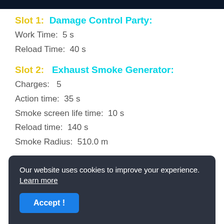Slot 1:  Damage Control Party:
Work Time:  5 s
Reload Time:  40 s
Slot 2:   Exhaust Smoke Generator:
Charges:   5
Action time:  35 s
Smoke screen life time:  10 s
Reload time:  140 s
Smoke Radius:  510.0 m
Our website uses cookies to improve your experience. Learn more
Accept !
Maximum Boost Speed:  +25%